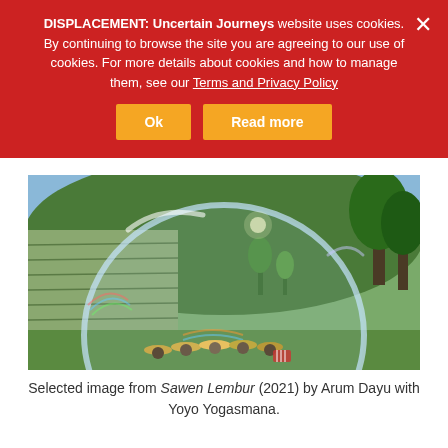DISPLACEMENT: Uncertain Journeys website uses cookies. By continuing to browse the site you are agreeing to our use of cookies. For more details about cookies and how to manage them, see our Terms and Privacy Policy
[Figure (photo): Photograph showing farm terraces with lush greenery and trees in the background, with a large transparent bubble/dome in the foreground encasing several people wearing traditional conical hats working in a rice paddy field.]
Selected image from Sawen Lembur (2021) by Arum Dayu with Yoyo Yogasmana.